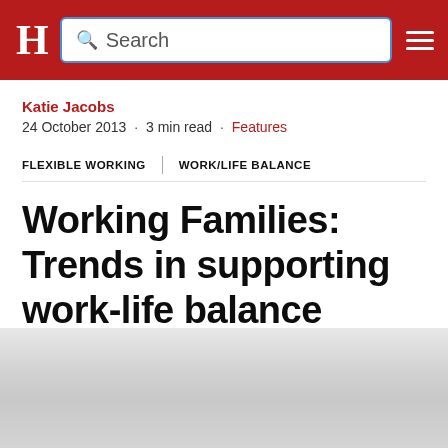H | Search [search bar] [menu]
Katie Jacobs
24 October 2013 · 3 min read · Features
FLEXIBLE WORKING | WORK/LIFE BALANCE
Working Families: Trends in supporting work-life balance
[Figure (photo): Blurred/faded background image at bottom of page, light grey tones]